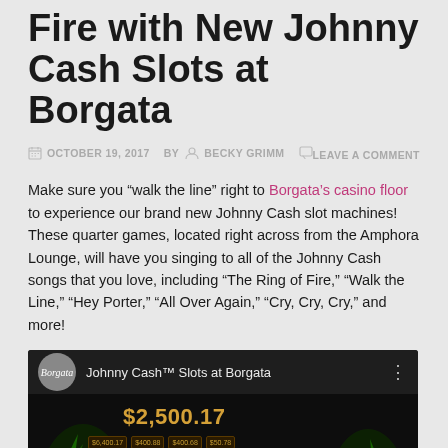Fire with New Johnny Cash Slots at Borgata
OCTOBER 19, 2017  BY  BECKY GRIMM   LEAVE A COMMENT
Make sure you “walk the line” right to Borgata’s casino floor to experience our brand new Johnny Cash slot machines!  These quarter games, located right across from the Amphora Lounge, will have you singing to all of the Johnny Cash songs that you love, including “The Ring of Fire,” “Walk the Line,” “Hey Porter,” “All Over Again,” “Cry, Cry, Cry,” and more!
[Figure (screenshot): YouTube-style video thumbnail for 'Johnny Cash™ Slots at Borgata' showing a slot machine jackpot of $2,500.17, green fire effects, a figure resembling Johnny Cash, and the text 'I Walk The Line' in blue. A play button is centered on the thumbnail.]